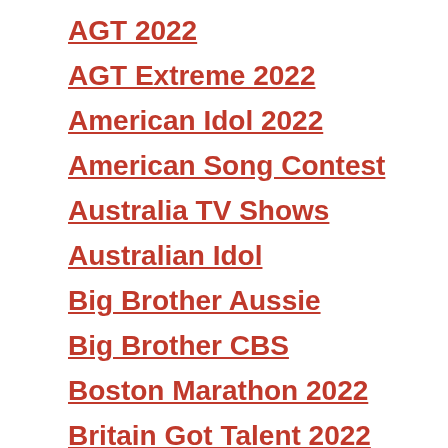AGT 2022
AGT Extreme 2022
American Idol 2022
American Song Contest
Australia TV Shows
Australian Idol
Big Brother Aussie
Big Brother CBS
Boston Marathon 2022
Britain Got Talent 2022
Canada's Got Talent
Dancing with the stars
Dancing with the Stars Austrlia
Master Chef Australia